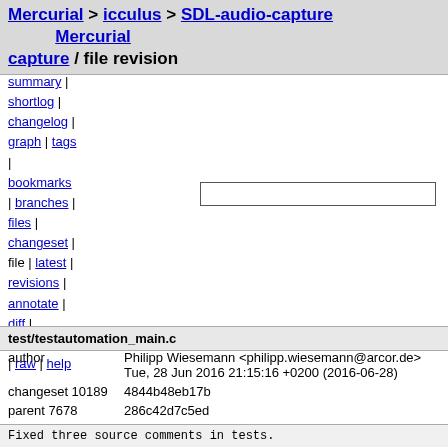Mercurial > icculus > SDL-audio-capture / file revision    Mercurial
summary |
shortlog |
changelog |
graph | tags
|
bookmarks
| branches |
files |
changeset |
file | latest |
revisions |
annotate |
diff |
comparison
| raw | help
test/testautomation_main.c
| field | value |
| --- | --- |
| author | Philipp Wiesemann <philipp.wiesemann@arcor.de> |
|  | Tue, 28 Jun 2016 21:15:16 +0200 (2016-06-28) |
| changeset 10189 | 4844b48eb17b |
| parent 7678 | 286c42d7c5ed |
| permissions | -rw-r--r-- |
Fixed three source comments in tests.